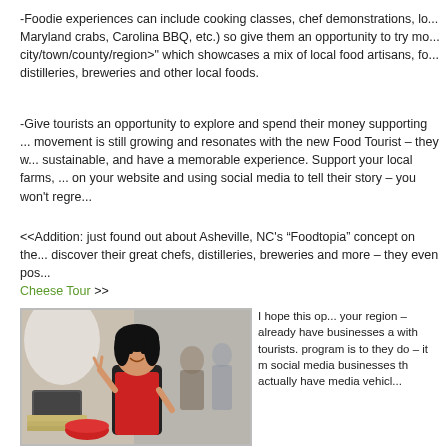-Foodie experiences can include cooking classes, chef demonstrations, lo... Maryland crabs, Carolina BBQ, etc.) so give them an opportunity to try mo... city/town/county/region> which showcases a mix of local food artisans, fo... distilleries, breweries and other local foods.
-Give tourists an opportunity to explore and spend their money supporting ... movement is still growing and resonates with the new Food Tourist – they w... sustainable, and have a memorable experience. Support your local farms, ... on your website and using social media to tell their story – you won't regre...
<<Addition: just found out about Asheville, NC's "Foodtopia" concept on the... discover their great chefs, distilleries, breweries and more – they even pos... Cheese Tour >>
[Figure (photo): A woman wearing a red apron holding food, making a peace sign gesture, at what appears to be an outdoor food event]
I hope this op... your region – already have businesses a with tourists. program is to they do – it m social media businesses th actually have media vehicl...